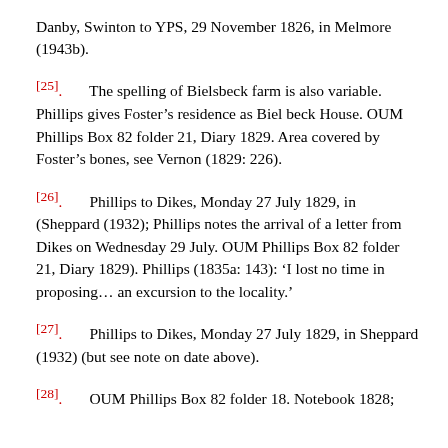Danby, Swinton to YPS, 29 November 1826, in Melmore (1943b).
[25]. The spelling of Bielsbeck farm is also variable. Phillips gives Foster’s residence as Biel beck House. OUM Phillips Box 82 folder 21, Diary 1829. Area covered by Foster’s bones, see Vernon (1829: 226).
[26]. Phillips to Dikes, Monday 27 July 1829, in (Sheppard (1932); Phillips notes the arrival of a letter from Dikes on Wednesday 29 July. OUM Phillips Box 82 folder 21, Diary 1829). Phillips (1835a: 143): ‘I lost no time in proposing…an excursion to the locality.’
[27]. Phillips to Dikes, Monday 27 July 1829, in Sheppard (1932) (but see note on date above).
[28]. OUM Phillips Box 82 folder 18. Notebook 1828;